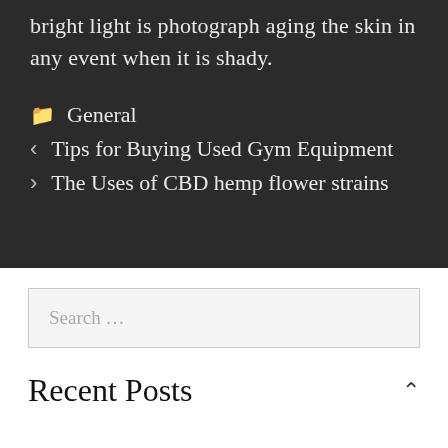bright light is photograph aging the skin in any event when it is shady.
General
Tips for Buying Used Gym Equipment
The Uses of CBD hemp flower strains
Search …
Recent Posts